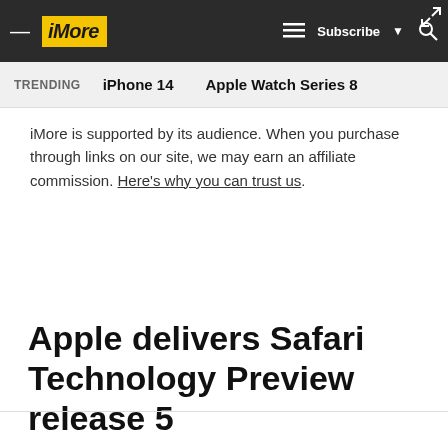iMore — iPhone 14 | Apple Watch Series 8 | Subscribe
TRENDING   iPhone 14   Apple Watch Series 8
iMore is supported by its audience. When you purchase through links on our site, we may earn an affiliate commission. Here's why you can trust us.
Apple delivers Safari Technology Preview release 5